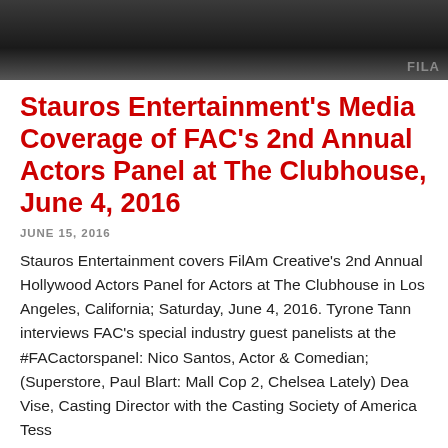[Figure (photo): Dark photo strip showing people at an event, with partial 'FILAM' text visible on a banner in the background]
Stauros Entertainment's Media Coverage of FAC's 2nd Annual Actors Panel at The Clubhouse, June 4, 2016
JUNE 15, 2016
Stauros Entertainment covers FilAm Creative's 2nd Annual Hollywood Actors Panel for Actors at The Clubhouse in Los Angeles, California; Saturday, June 4, 2016. Tyrone Tann interviews FAC's special industry guest panelists at the #FACactorspanel: Nico Santos, Actor & Comedian; (Superstore, Paul Blart: Mall Cop 2, Chelsea Lately) Dea Vise, Casting Director with the Casting Society of America Tess